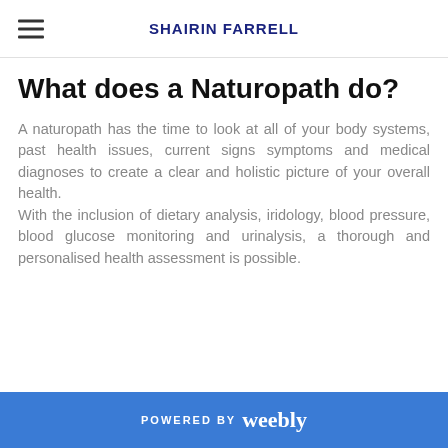SHAIRIN FARRELL
What does a Naturopath do?
A naturopath has the time to look at all of your body systems, past health issues, current signs symptoms and medical diagnoses to create a clear and holistic picture of your overall health. With the inclusion of dietary analysis, iridology, blood pressure, blood glucose monitoring and urinalysis, a thorough and personalised health assessment is possible.
POWERED BY weebly